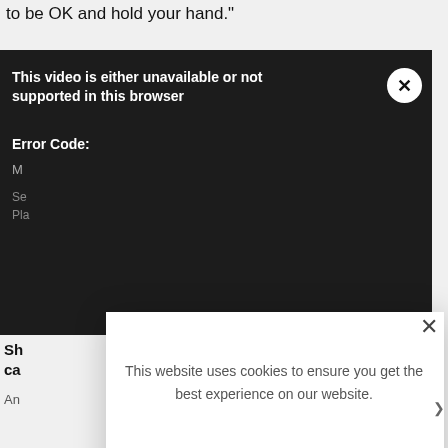to be OK and hold your hand."
[Figure (screenshot): Video player showing error message: 'This video is either unavailable or not supported in this browser' with Error Code label and a close (X) button. Dark background with partial text visible for Media, Session, Platform lines.]
Sh... ca...
An...
This website uses cookies to ensure you get the best experience on our website.

LEARN MORE.

ACCEPT COOKIES